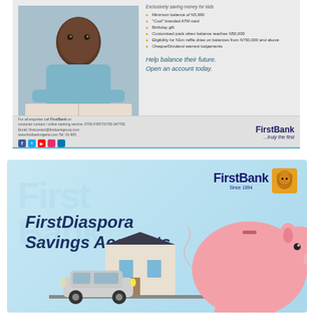[Figure (advertisement): FirstBank children savings account advertisement showing a young African boy studying with a book. Right side lists benefits: Minimum balance of N5,000, 'Cool' branded ATM card, Birthday gift, Customised pack when balance reaches N50,000, Eligibility for N1m raffle draw on balances from N750,000 and above, Cheque/Dividend warrant lodgements. Call to action: Help balance their future. Open an account today. FirstBank ...truly the first logo at bottom right.]
[Figure (advertisement): FirstBank FirstDiaspora Savings Accounts advertisement on light blue background. Features FirstBank logo top right with lion icon and 'Since 1894'. Large italic text 'FirstDiaspora Savings Accounts' in dark blue. Background shows a silver car and a house/building. Large pink piggy bank on the right side.]